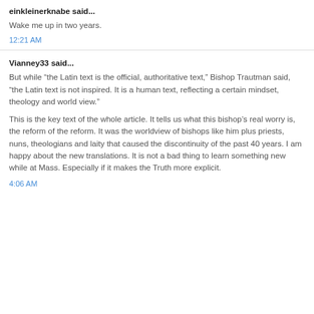einkleinerknabe said...
Wake me up in two years.
12:21 AM
Vianney33 said...
But while “the Latin text is the official, authoritative text,” Bishop Trautman said, “the Latin text is not inspired. It is a human text, reflecting a certain mindset, theology and world view.”
This is the key text of the whole article. It tells us what this bishop’s real worry is, the reform of the reform. It was the worldview of bishops like him plus priests, nuns, theologians and laity that caused the discontinuity of the past 40 years. I am happy about the new translations. It is not a bad thing to learn something new while at Mass. Especially if it makes the Truth more explicit.
4:06 AM